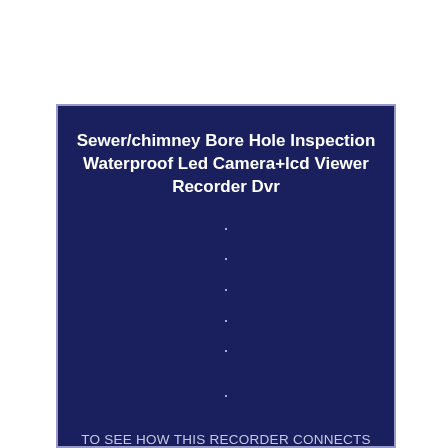Sewer/chimney Bore Hole Inspection Waterproof Led Camera+lcd Viewer Recorder Dvr
•
•
•
•
•
•
TO SEE HOW THIS RECORDER CONNECTS TO A CAMERA SEE OUR YOUTUBE VIDEO BY SEARCHING RAGECAMS RCA LYRA X3000. PLUG AND PLAY EASY TO USE SYSTEM